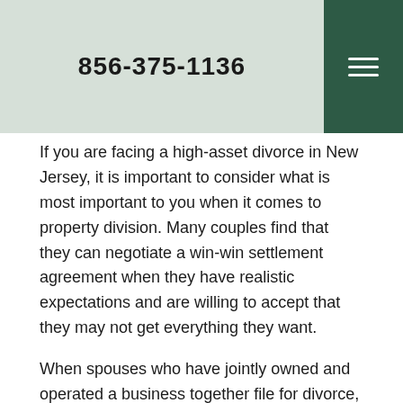856-375-1136
If you are facing a high-asset divorce in New Jersey, it is important to consider what is most important to you when it comes to property division. Many couples find that they can negotiate a win-win settlement agreement when they have realistic expectations and are willing to accept that they may not get everything they want.
When spouses who have jointly owned and operated a business together file for divorce, a common way to divide the business is to transfer one spouse's interests in the business to the other spouse. It is unusual for spouses who divorce to continue operating a small